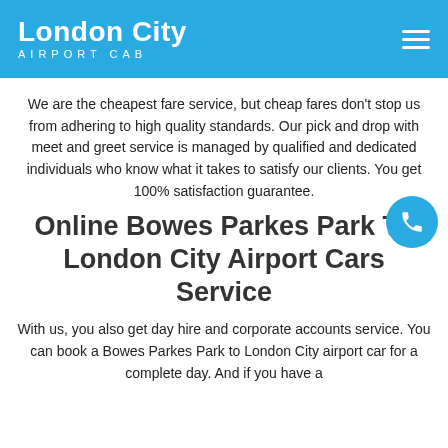London City AIRPORT CAB
We are the cheapest fare service, but cheap fares don't stop us from adhering to high quality standards. Our pick and drop with meet and greet service is managed by qualified and dedicated individuals who know what it takes to satisfy our clients. You get 100% satisfaction guarantee.
Online Bowes Parkes Park To London City Airport Cars Service
With us, you also get day hire and corporate accounts service. You can book a Bowes Parkes Park to London City airport car for a complete day. And if you have a